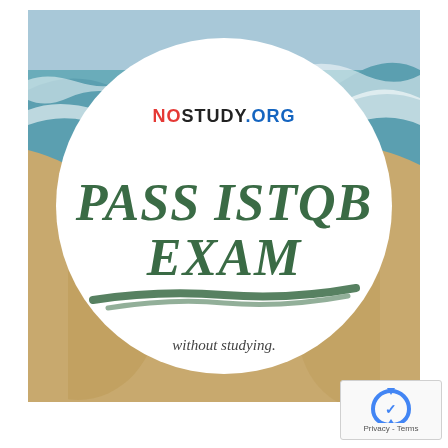[Figure (illustration): Beach scene with ocean waves and sandy shore background. A large white circle overlaid in the center contains the text 'NOSTUDY.ORG' at top, then 'PASS ISTQB EXAM' in large dark green handwritten/brush font, a green brushstroke underline, and 'without studying.' in smaller cursive text below.]
[Figure (logo): reCAPTCHA logo with Privacy and Terms text in bottom right corner]